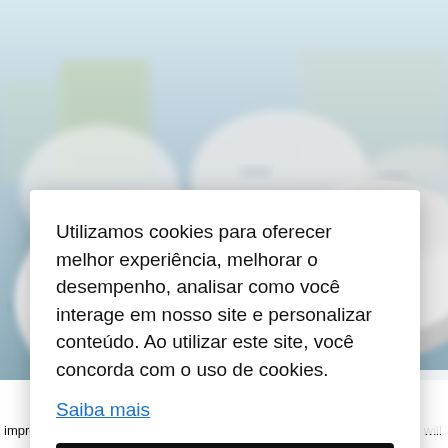[Figure (photo): Blurred background photo of multiple white hard hats/helmets with 'Habitat' logos, suggesting a construction/volunteering context.]
Utilizamos cookies para oferecer melhor experiência, melhorar o desempenho, analisar como você interage em nosso site e personalizar conteúdo. Ao utilizar este site, você concorda com o uso de cookies.
Saiba mais
Ok, entendi!
improve homes across the U.S. During June 5-9, more than 200 families will